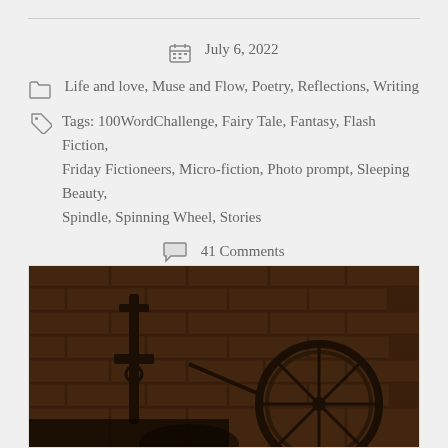July 6, 2022
Life and love, Muse and Flow, Poetry, Reflections, Writing
Tags: 100WordChallenge, Fairy Tale, Fantasy, Flash Fiction, Friday Fictioneers, Micro-fiction, Photo prompt, Sleeping Beauty, Spindle, Spinning Wheel, Stories
41 Comments
[Figure (photo): Sepia-toned photograph of an antique spinning wheel against a brick wall, showing the wheel mechanism and spindle in dramatic dark lighting]